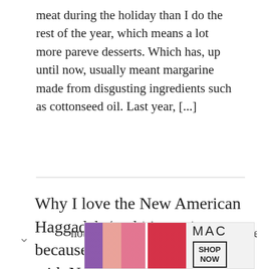meat during the holiday than I do the rest of the year, which means a lot more pareve desserts. Which has, up until now, usually meant margarine made from disgusting ingredients such as cottonseed oil. Last year, [...]
Why I love the New American Haggadah (and it's not just because I got to have a martini with Nathan Englander.)
By Homeshuling
not a haggadah junkie. I know many Jews
[Figure (other): MAC cosmetics advertisement showing lipsticks in purple, pink, and red colors with MAC logo and SHOP NOW button]